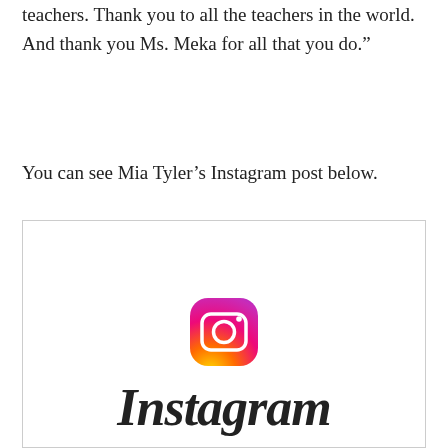teachers. Thank you to all the teachers in the world. And thank you Ms. Meka for all that you do.”
You can see Mia Tyler’s Instagram post below.
[Figure (screenshot): Instagram logo placeholder box showing the Instagram camera icon and the word Instagram in script font]